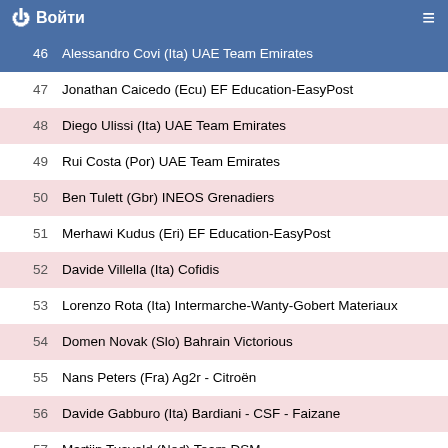Войти
46  Alessandro Covi (Ita) UAE Team Emirates
47  Jonathan Caicedo (Ecu) EF Education-EasyPost
48  Diego Ulissi (Ita) UAE Team Emirates
49  Rui Costa (Por) UAE Team Emirates
50  Ben Tulett (Gbr) INEOS Grenadiers
51  Merhawi Kudus (Eri) EF Education-EasyPost
52  Davide Villella (Ita) Cofidis
53  Lorenzo Rota (Ita) Intermarche-Wanty-Gobert Materiaux
54  Domen Novak (Slo) Bahrain Victorious
55  Nans Peters (Fra) Ag2r - Citroën
56  Davide Gabburo (Ita) Bardiani - CSF - Faizane
57  Martijn Tusveld (Ned) Team DSM
58  Jorge Arcas (Esp) Movistar Team
59  Harold Tejada (Col) Astana Qazaqstan Team
60  Fabio Felline (Ita) Astana Qazaqstan Team
61  Vincenzo Albanese (Ita) Eolo - Kometa Cycling Team
62  Pascal Eenkhoorn (Ned) Jumbo - Visma
63  Rémy Rochas (Fra) Cofidis
64  Giovanni Aleotti (Ita) Bora-hansgrohe
65  Stefano Oldani (Ita) Alpecin-Fenix
66  Thomas De Gendt (Bel) Lotto Soudal